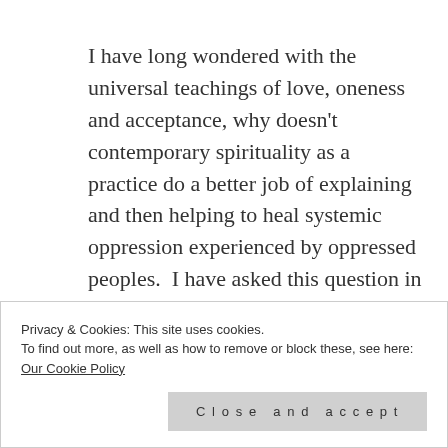I have long wondered with the universal teachings of love, oneness and acceptance, why doesn't contemporary spirituality as a practice do a better job of explaining and then helping to heal systemic oppression experienced by oppressed peoples.  I have asked this question in my mediation and prayer practice for a little while
me to share some thoughts.
Privacy & Cookies: This site uses cookies.
To find out more, as well as how to remove or block these, see here:
Our Cookie Policy
Close and accept